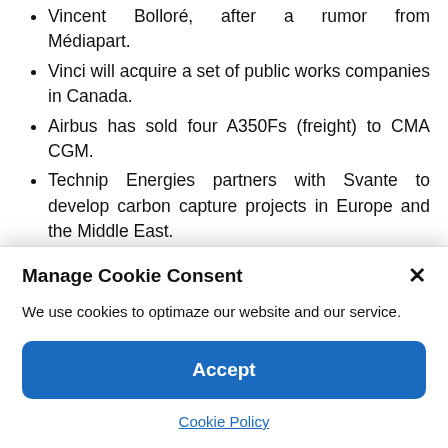Vincent Bolloré, after a rumor from Médiapart.
Vinci will acquire a set of public works companies in Canada.
Airbus has sold four A350Fs (freight) to CMA CGM.
Technip Energies partners with Svante to develop carbon capture projects in Europe and the Middle East.
Ipsen signs a partnership with Queen's University of Belfast, to access the rights to a
Manage Cookie Consent
We use cookies to optimaze our website and our service.
Accept
Cookie Policy